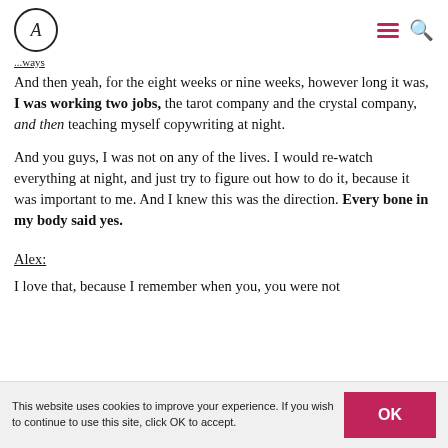A (logo) | hamburger menu | search icon
...ways
And then yeah, for the eight weeks or nine weeks, however long it was, I was working two jobs, the tarot company and the crystal company, and then teaching myself copywriting at night.
And you guys, I was not on any of the lives. I would re-watch everything at night, and just try to figure out how to do it, because it was important to me. And I knew this was the direction. Every bone in my body said yes.
Alex:
I love that, because I remember when you, you were not
This website uses cookies to improve your experience. If you wish to continue to use this site, click OK to accept.